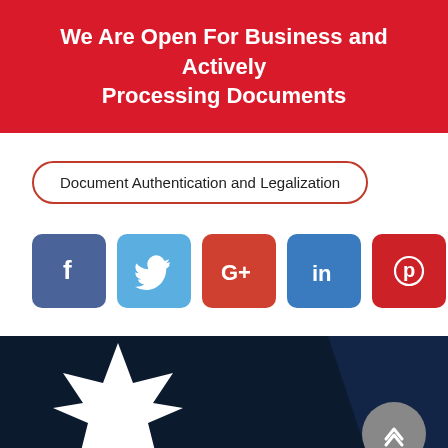We Are Open For Business and Actively Processing Documents
Document Authentication and Legalization
[Figure (other): Social media sharing icons: Facebook (blue), Twitter (light blue), Google+ (red), LinkedIn (blue), Pinterest (red)]
[Figure (logo): White Canadian maple leaf logo on dark navy background with TM mark, diagonal shape overlay, and grey scroll-to-top button]